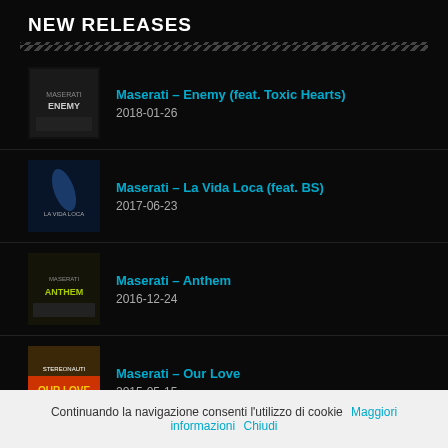NEW RELEASES
Maserati – Enemy (feat. Toxic Hearts)
2018-01-26
Maserati – La Vida Loca (feat. BS)
2017-06-23
Maserati – Anthem
2016-12-24
Maserati – Our Love
2015-05-15
TWITTER
Tweets by MaseratiTW
Continuando la navigazione consenti l'utilizzo di cookie   Maggiori informazioni   Chiudi